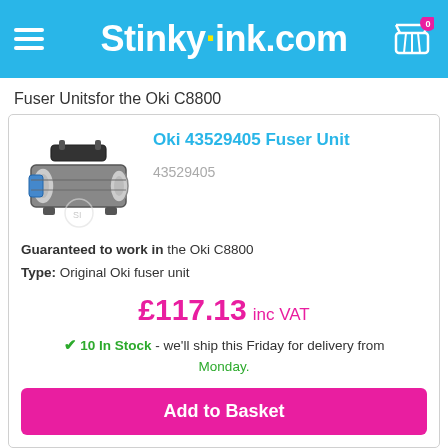Stinkyink.com
Fuser Unitsfor the Oki C8800
[Figure (photo): Product photo of Oki 43529405 Fuser Unit — a mechanical fuser assembly with rollers and handle in black/grey/blue]
Oki 43529405 Fuser Unit
43529405
Guaranteed to work in the Oki C8800
Type: Original Oki fuser unit
£117.13 inc VAT
✔ 10 In Stock - we'll ship this Friday for delivery from Monday.
Add to Basket